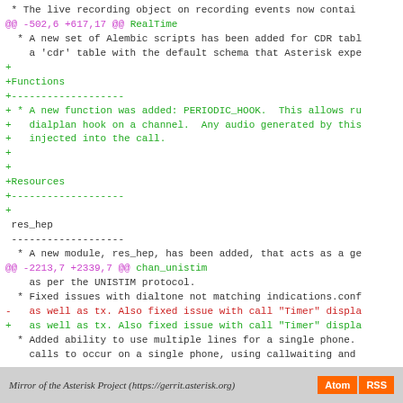* The live recording object on recording events now contai
@@ -502,6 +617,17 @@ RealTime
* A new set of Alembic scripts has been added for CDR tabl
a 'cdr' table with the default schema that Asterisk expe
+
+Functions
+-------------------
+ * A new function was added: PERIODIC_HOOK.  This allows ru
+   dialplan hook on a channel.  Any audio generated by this
+   injected into the call.
+
+
+Resources
+-------------------
+
res_hep
-------------------
* A new module, res_hep, has been added, that acts as a ge
@@ -2213,7 +2339,7 @@ chan_unistim
as per the UNISTIM protocol.
* Fixed issues with dialtone not matching indications.conf
-   as well as tx. Also fixed issue with call "Timer" displa
+   as well as tx. Also fixed issue with call "Timer" displa
* Added ability to use multiple lines for a single phone.
calls to occur on a single phone, using callwaiting and
Mirror of the Asterisk Project (https://gerrit.asterisk.org)